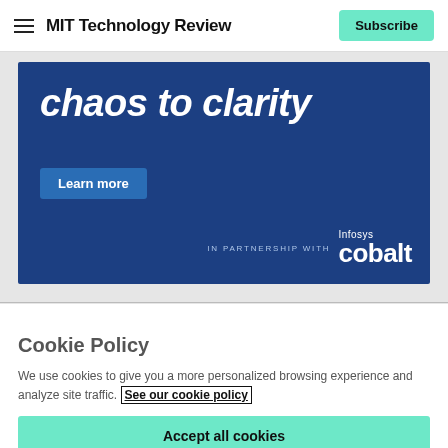MIT Technology Review | Subscribe
[Figure (infographic): Advertisement banner with dark blue background. Large white bold italic text reads 'chaos to clarity'. Below is a teal 'Learn more' button. Bottom right shows 'IN PARTNERSHIP WITH Infosys cobalt' branding.]
Cookie Policy
We use cookies to give you a more personalized browsing experience and analyze site traffic. See our cookie policy
Accept all cookies
Cookies settings